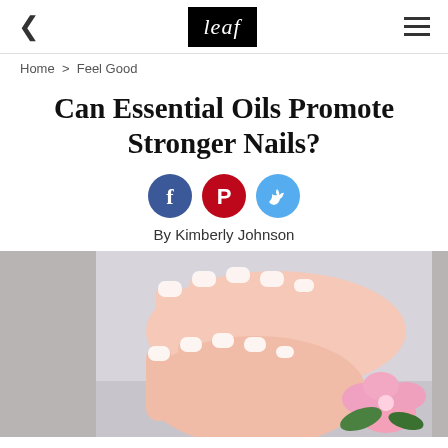leaf
Home > Feel Good
Can Essential Oils Promote Stronger Nails?
[Figure (illustration): Social media share icons: Facebook (blue circle with f), Pinterest (red circle with P), Twitter (light blue circle with bird)]
By Kimberly Johnson
[Figure (photo): Close-up photo of hands with manicured nails (French tips) resting on a surface next to pink flowers and green leaves]